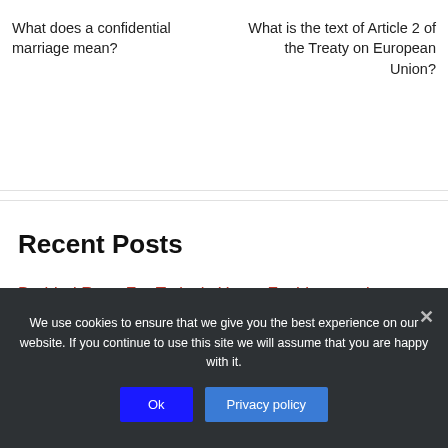What does a confidential marriage mean?
What is the text of Article 2 of the Treaty on European Union?
Recent Posts
Braided Rugs For Today's Home Fashions and Lifestyles
We use cookies to ensure that we give you the best experience on our website. If you continue to use this site we will assume that you are happy with it.
Ok
Privacy policy